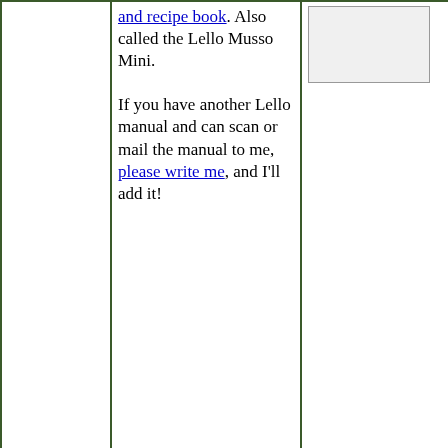| Brand | Manual/Link | Notes |
| --- | --- | --- |
|  | and recipe book. Also called the Lello Musso Mini.

If you have another Lello manual and can scan or mail the manual to me, please write me, and I'll add it! | [image] |
| Mistral | Click here to download the Mistral Whirly soft server maker, model MSIM10. | Available in Australia |
| Montgomery Wards signature electric ice cream maker | Click here to download the Montgomery Ward ice cream maker manual and recipes. It's called, oddly enough "Ye Olde Fashioned Ice Cream Book" | [Montgomery ward ice cream maker image] [VINTAGE MONTGOMERY WARD SIGNATURE ELECTRIC 6 QT ICE CREAM FREEZER NATUR...] |